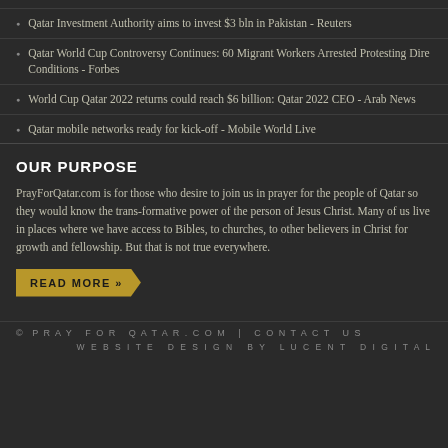Qatar Investment Authority aims to invest $3 bln in Pakistan - Reuters
Qatar World Cup Controversy Continues: 60 Migrant Workers Arrested Protesting Dire Conditions - Forbes
World Cup Qatar 2022 returns could reach $6 billion: Qatar 2022 CEO - Arab News
Qatar mobile networks ready for kick-off - Mobile World Live
OUR PURPOSE
PrayForQatar.com is for those who desire to join us in prayer for the people of Qatar so they would know the trans-formative power of the person of Jesus Christ. Many of us live in places where we have access to Bibles, to churches, to other believers in Christ for growth and fellowship. But that is not true everywhere.
READ MORE »
© Pray For Qatar.com | CONTACT US
WEBSITE DESIGN BY LUCENT DIGITAL